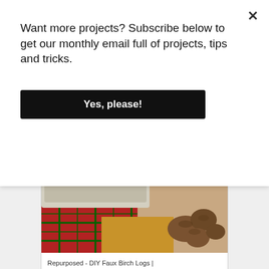Want more projects? Subscribe below to get our monthly email full of projects, tips and tricks.
Yes, please!
[Figure (photo): Photo of wrapped gifts with plaid ribbon and pine cones next to birch-style logs]
Repurposed - DIY Faux Birch Logs |
[Figure (photo): Photo of a rustic gray barnwood jewelry holder board with colorful knobs and hanging necklaces]